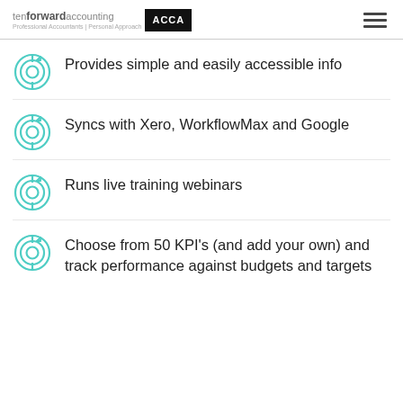tenforward accounting — Professional Accountants | Personal Approach — ACCA
Provides simple and easily accessible info
Syncs with Xero, WorkflowMax and Google
Runs live training webinars
Choose from 50 KPI's (and add your own) and track performance against budgets and targets